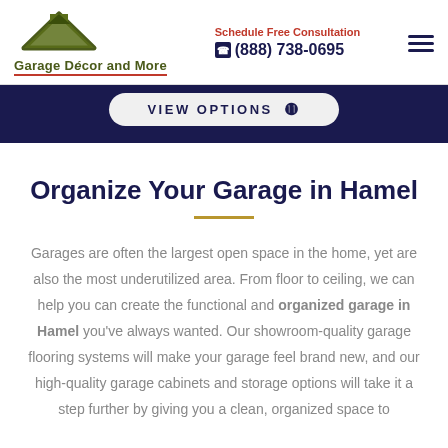Garage Décor and More — Schedule Free Consultation (888) 738-0695
VIEW OPTIONS ⊙
Organize Your Garage in Hamel
Garages are often the largest open space in the home, yet are also the most underutilized area. From floor to ceiling, we can help you can create the functional and organized garage in Hamel you've always wanted. Our showroom-quality garage flooring systems will make your garage feel brand new, and our high-quality garage cabinets and storage options will take it a step further by giving you a clean, organized space to